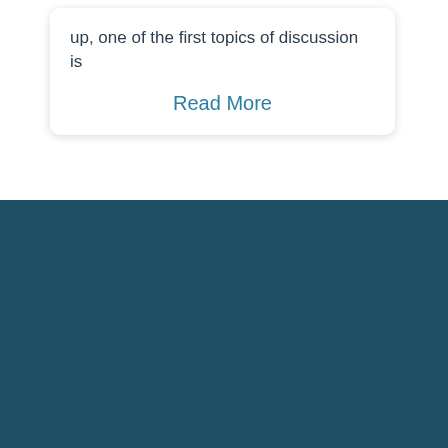up, one of the first topics of discussion is
Read More
[Figure (logo): Celayix company logo with stylized wave/signal icon in orange and white on dark teal background]
INDUSTRIES
FOLLOW US
General
Security
Home Health Care
[Figure (logo): LinkedIn icon - white circle with 'in' letters]
[Figure (logo): YouTube icon - white circle with play button triangle]